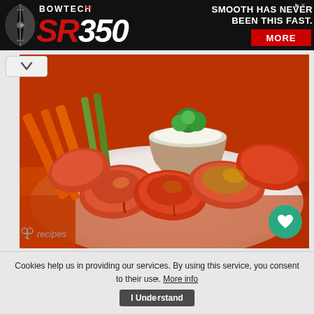[Figure (screenshot): Bowtech SR350 advertisement banner with bow image on left, 'SMOOTH HAS NEVER BEEN THIS FAST.' text and MORE button on right, dark background]
[Figure (photo): Plate of buffalo chicken wings with ranch dipping sauce, celery, and carrot sticks on a white plate with orange napkin]
recipes
Cookies help us in providing our services. By using this service, you consent to their use. More info   I Understand